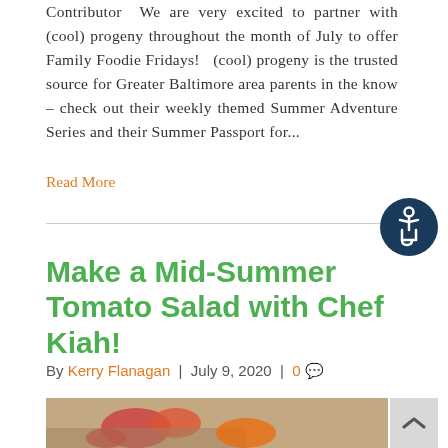Contributor  We are very excited to partner with (cool) progeny throughout the month of July to offer Family Foodie Fridays!  (cool) progeny is the trusted source for Greater Baltimore area parents in the know – check out their weekly themed Summer Adventure Series and their Summer Passport for...
Read More
[Figure (other): Accessibility icon – dark blue circle with white wheelchair/person symbol]
Make a Mid-Summer Tomato Salad with Chef Kiah!
By Kerry Flanagan | July 9, 2020 | 0 💬
[Figure (photo): Partial photo of a tomato salad on a wooden cutting board, partially visible at bottom of page]